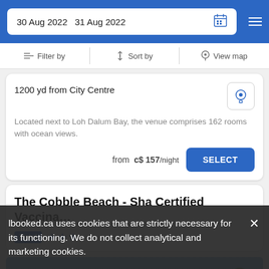30 Aug 2022  31 Aug 2022
Filter by   Sort by   View map
1200 yd from City Centre
Located next to Loh Dalum Bay, the venue comprises 162 rooms with ocean views.
from  c$ 157/night
SELECT
The Cobble Beach - Sha Certified Vaccina…
Hotel ★★★
lbooked.ca uses cookies that are strictly necessary for its functioning. We do not collect analytical and marketing cookies.